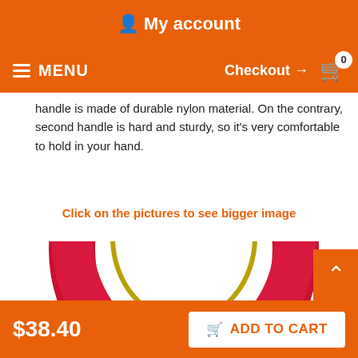My account
MENU  Checkout → 0
handle is made of durable nylon material. On the contrary, second handle is hard and sturdy, so it's very comfortable to hold in your hand.
Click on the pictures to see bigger image
[Figure (photo): A hand gripping a red padded handle with a metal ring, appearing to be part of a training or exercise tool. The handle has a D-ring shape with a bright red fabric wrap.]
$38.40  ADD TO CART